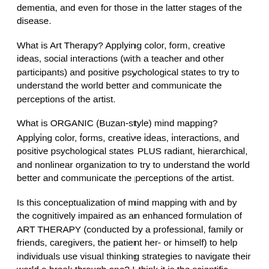dementia, and even for those in the latter stages of the disease.
What is Art Therapy? Applying color, form, creative ideas, social interactions (with a teacher and other participants) and positive psychological states to try to understand the world better and communicate the perceptions of the artist.
What is ORGANIC (Buzan-style) mind mapping? Applying color, forms, creative ideas, interactions, and positive psychological states PLUS radiant, hierarchical, and nonlinear organization to try to understand the world better and communicate the perceptions of the artist.
Is this conceptualization of mind mapping with and by the cognitively impaired as an enhanced formulation of ART THERAPY (conducted by a professional, family or friends, caregivers, the patient her- or himself) to help individuals use visual thinking strategies to navigate their world a break through one? I think it is the scientific missing link and we can bootstrap from the findings that Art Therapy is a good intervention for dementia to ORGANIC mind mapping may be a good intervention for dementia and perhaps will achieve a greater effect than less